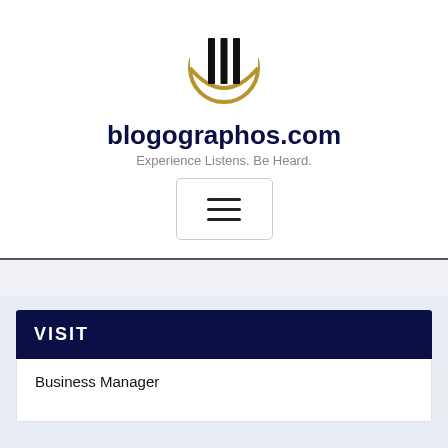[Figure (logo): blogographos.com logo: circular emblem with three black vertical columns/pillars and a gold arc, with a gold horizontal bar at the top]
blogographos.com
Experience Listens. Be Heard.
[Figure (screenshot): Hamburger menu button: three horizontal lines inside a rounded rectangle border]
VISIT
Business Manager